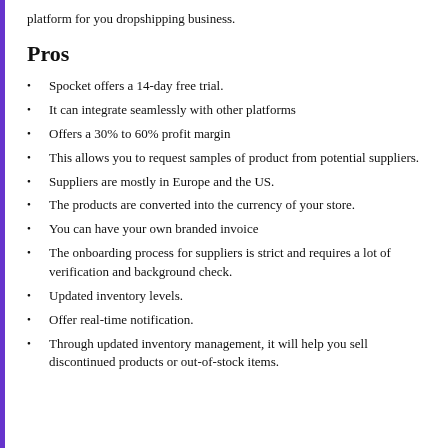platform for you dropshipping business.
Pros
Spocket offers a 14-day free trial.
It can integrate seamlessly with other platforms
Offers a 30% to 60% profit margin
This allows you to request samples of product from potential suppliers.
Suppliers are mostly in Europe and the US.
The products are converted into the currency of your store.
You can have your own branded invoice
The onboarding process for suppliers is strict and requires a lot of verification and background check.
Updated inventory levels.
Offer real-time notification.
Through updated inventory management, it will help you sell discontinued products or out-of-stock items.